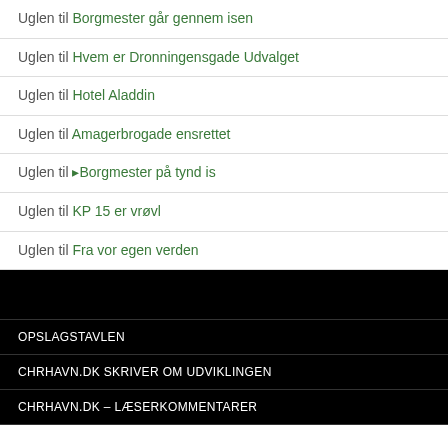Uglen til Borgmester går gennem isen
Uglen til Hvem er Dronningensgade Udvalget
Uglen til Hotel Aladdin
Uglen til Amagerbrogade ensrettet
Uglen til ▸Borgmester på tynd is
Uglen til KP 15 er vrøvl
Uglen til Fra vor egen verden
OPSLAGSTAVLEN
CHRHAVN.DK SKRIVER OM UDVIKLINGEN
CHRHAVN.DK – LÆSERKOMMENTARER